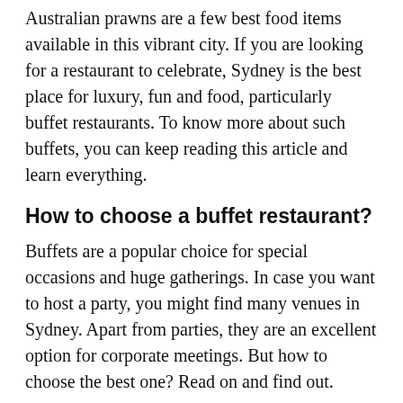Australian prawns are a few best food items available in this vibrant city. If you are looking for a restaurant to celebrate, Sydney is the best place for luxury, fun and food, particularly buffet restaurants. To know more about such buffets, you can keep reading this article and learn everything.
How to choose a buffet restaurant?
Buffets are a popular choice for special occasions and huge gatherings. In case you want to host a party, you might find many venues in Sydney. Apart from parties, they are an excellent option for corporate meetings. But how to choose the best one? Read on and find out.
Choose buffets with a live cooking session: If you